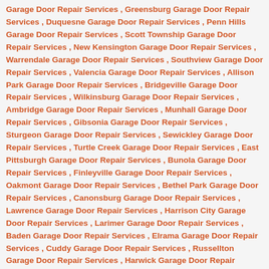Garage Door Repair Services , Greensburg Garage Door Repair Services , Duquesne Garage Door Repair Services , Penn Hills Garage Door Repair Services , Scott Township Garage Door Repair Services , New Kensington Garage Door Repair Services , Warrendale Garage Door Repair Services , Southview Garage Door Repair Services , Valencia Garage Door Repair Services , Allison Park Garage Door Repair Services , Bridgeville Garage Door Repair Services , Wilkinsburg Garage Door Repair Services , Ambridge Garage Door Repair Services , Munhall Garage Door Repair Services , Gibsonia Garage Door Repair Services , Sturgeon Garage Door Repair Services , Sewickley Garage Door Repair Services , Turtle Creek Garage Door Repair Services , East Pittsburgh Garage Door Repair Services , Bunola Garage Door Repair Services , Finleyville Garage Door Repair Services , Oakmont Garage Door Repair Services , Bethel Park Garage Door Repair Services , Canonsburg Garage Door Repair Services , Lawrence Garage Door Repair Services , Harrison City Garage Door Repair Services , Larimer Garage Door Repair Services , Baden Garage Door Repair Services , Elrama Garage Door Repair Services , Cuddy Garage Door Repair Services , Russellton Garage Door Repair Services , Harwick Garage Door Repair Services , Braddock Garage Door Repair Services , Imperial Garage Door Repair Services , Monongahela Garage Door Repair Services